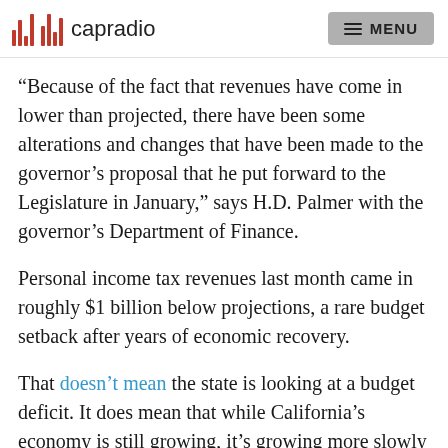capradio  MENU
“Because of the fact that revenues have come in lower than projected, there have been some alterations and changes that have been made to the governor’s proposal that he put forward to the Legislature in January,” says H.D. Palmer with the governor’s Department of Finance.
Personal income tax revenues last month came in roughly $1 billion below projections, a rare budget setback after years of economic recovery.
That doesn’t mean the state is looking at a budget deficit. It does mean that while California’s economy is still growing, it’s growing more slowly than it has been. And that means there’s less money to go around for Gov. Jerry Brown, who’s called for some new infrastructure spending and state building maintenance and for large reserves f…